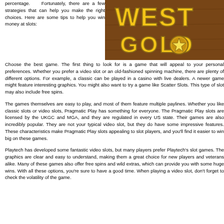percentage. Fortunately, there are a few strategies that can help you make the right choices. Here are some tips to help you win money at slots:
[Figure (photo): Western Gold slot game logo with golden text on brown wooden background]
Choose the best game. The first thing to look for is a game that will appeal to your personal preferences. Whether you prefer a video slot or an old-fashioned spinning machine, there are plenty of different options. For example, a classic can be played in a casino with live dealers. A newer game might feature interesting graphics. You might also want to try a game like Scatter Slots. This type of slot may also include free spins.
The games themselves are easy to play, and most of them feature multiple paylines. Whether you like classic slots or video slots, Pragmatic Play has something for everyone. The Pragmatic Play slots are licensed by the UKGC and MGA, and they are regulated in every US state. Their games are also incredibly popular. They are not your typical video slot, but they do have some impressive features. These characteristics make Pragmatic Play slots appealing to slot players, and you'll find it easier to win big on these games.
Playtech has developed some fantastic video slots, but many players prefer Playtech's slot games. The graphics are clear and easy to understand, making them a great choice for new players and veterans alike. Many of these games also offer free spins and wild extras, which can provide you with some huge wins. With all these options, you're sure to have a good time. When playing a video slot, don't forget to check the volatility of the game.